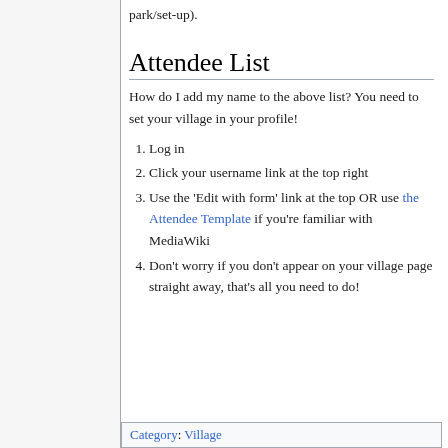park/set-up).
Attendee List
How do I add my name to the above list? You need to set your village in your profile!
Log in
Click your username link at the top right
Use the 'Edit with form' link at the top OR use the Attendee Template if you're familiar with MediaWiki
Don't worry if you don't appear on your village page straight away, that's all you need to do!
Category: Village